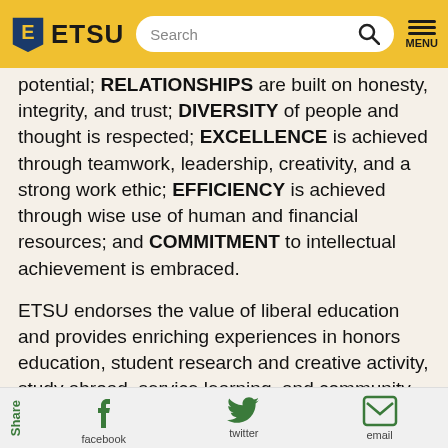ETSU [logo] Search [menu]
potential; RELATIONSHIPS are built on honesty, integrity, and trust; DIVERSITY of people and thought is respected; EXCELLENCE is achieved through teamwork, leadership, creativity, and a strong work ethic; EFFICIENCY is achieved through wise use of human and financial resources; and COMMITMENT to intellectual achievement is embraced.
ETSU endorses the value of liberal education and provides enriching experiences in honors education, student research and creative activity, study abroad, service learning, and community-based education.
ETSU honors and preserves the rich heritage of Southern Appalachia through distinctive education,
Share  facebook  twitter  email